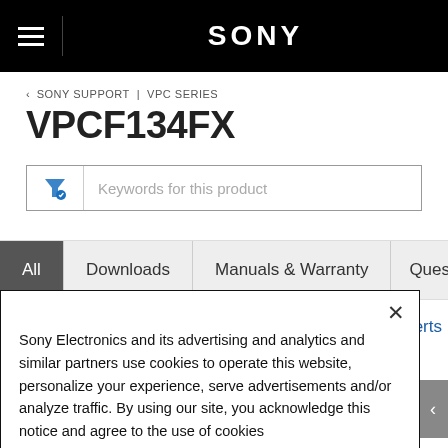SONY
< SONY SUPPORT | VPC SERIES
VPCF134FX
Keywords for this product
All  Downloads  Manuals & Warranty  Questions &
Product Alerts
Sony Electronics and its advertising and analytics and similar partners use cookies to operate this website, personalize your experience, serve advertisements and/or analyze traffic. By using our site, you acknowledge this notice and agree to the use of cookies